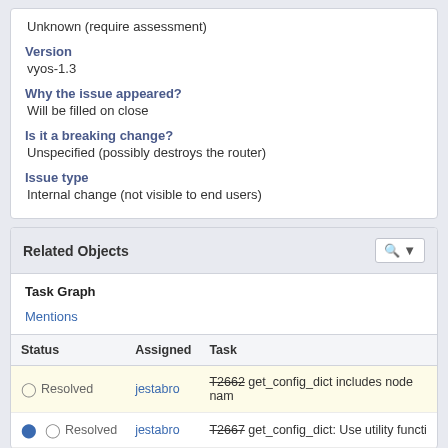Unknown (require assessment)
Version
vyos-1.3
Why the issue appeared?
Will be filled on close
Is it a breaking change?
Unspecified (possibly destroys the router)
Issue type
Internal change (not visible to end users)
| Status | Assigned | Task |
| --- | --- | --- |
| Resolved | jestabro | T2662 get_config_dict includes node nam |
| Resolved | jestabro | T2667 get_config_dict: Use utility functi |